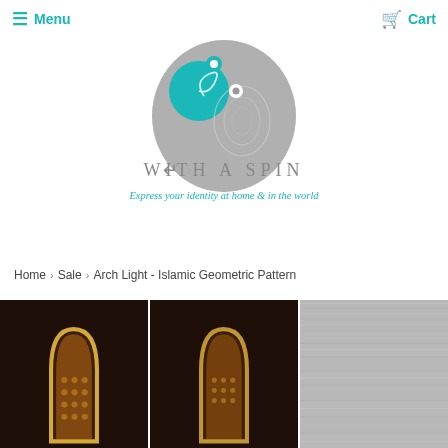Menu   Cart
[Figure (logo): With A Spin logo — yin-yang style oval shape with teal and grey halves, decorative swirl patterns, with text 'WITH A SPIN' below and tagline 'Express your identity at home & in the world']
Home > Sale > Arch Light - Islamic Geometric Pattern
[Figure (photo): Three product photos of arch-shaped Islamic geometric pattern lights glowing in orange/warm light against dark background, and one brushed metal texture panel]